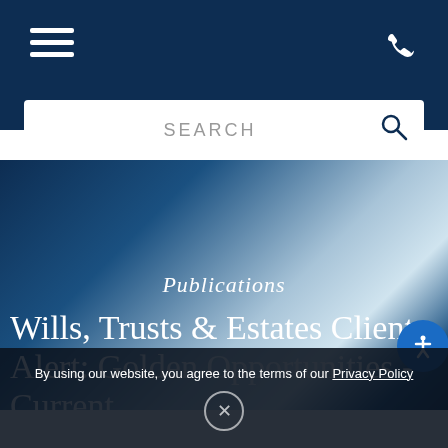Navigation header with hamburger menu and phone icon
[Figure (screenshot): Search bar with SEARCH placeholder text and search icon on dark navy background]
[Figure (infographic): Hero banner with blue gradient background showing Publications category label and article title]
Publications
Wills, Trusts & Estates Client Alert: Golden Opportunities - Current
By using our website, you agree to the terms of our Privacy Policy